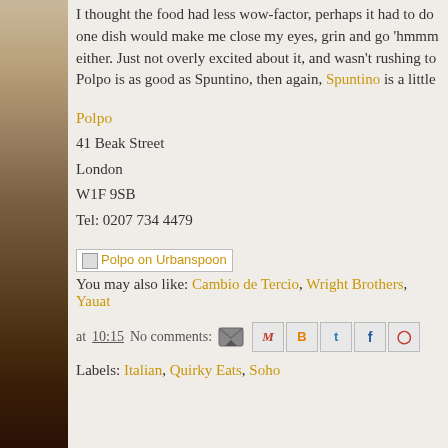I thought the food had less wow-factor, perhaps it had to do one dish would make me close my eyes, grin and go 'hmmm either. Just not overly excited about it, and wasn't rushing to Polpo is as good as Spuntino, then again, Spuntino is a little
Polpo
41 Beak Street
London
W1F 9SB
Tel: 0207 734 4479
[Figure (other): Polpo on Urbanspoon badge/link]
You may also like: Cambio de Tercio, Wright Brothers, Yauat
at 10:15   No comments:   [email icon] [share icons: Gmail, Blogger, Twitter, Facebook, Pinterest]
Labels: Italian, Quirky Eats, Soho